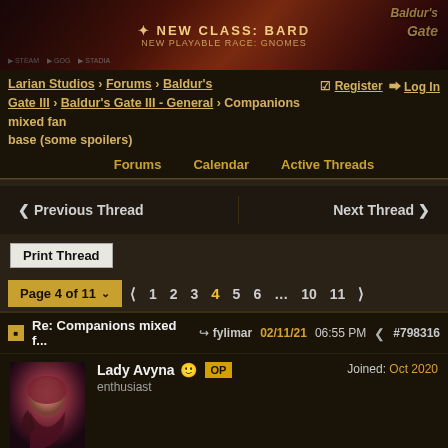[Figure (illustration): Baldur's Gate III game advertisement banner showing 'NEW CLASS: BARD - NEW PLAYABLE RACE: GNOMES' with fantasy character artwork and game logo]
Larian Studios > Forums > Baldur's Gate III > Baldur's Gate III - General > Companions mixed fan base (some spoilers) | Register | Log In
Forums   Calendar   Active Threads
Previous Thread   Next Thread
Print Thread
Page 4 of 11  < 1 2 3 4 5 6 ... 10 11 >
Re: Companions mixed f...  fylimar  02/11/21 06:55 PM  #798316
Lady Avyna  OP  enthusiast  Joined: Oct 2020
Originally Posted by fylimar
Originally Posted by Lady Avyna
Originally Posted by fylimar